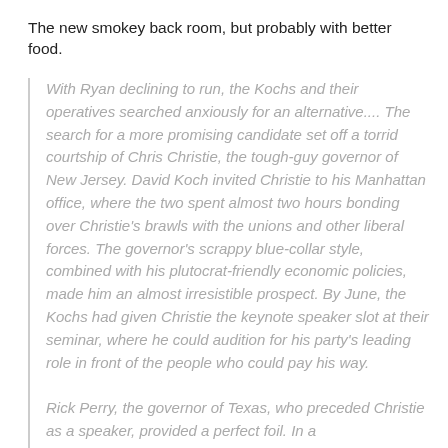The new smokey back room, but probably with better food.
With Ryan declining to run, the Kochs and their operatives searched anxiously for an alternative.... The search for a more promising candidate set off a torrid courtship of Chris Christie, the tough-guy governor of New Jersey. David Koch invited Christie to his Manhattan office, where the two spent almost two hours bonding over Christie's brawls with the unions and other liberal forces. The governor's scrappy blue-collar style, combined with his plutocrat-friendly economic policies, made him an almost irresistible prospect. By June, the Kochs had given Christie the keynote speaker slot at their seminar, where he could audition for his party's leading role in front of the people who could pay his way.

Rick Perry, the governor of Texas, who preceded Christie as a speaker, provided a perfect foil. In a